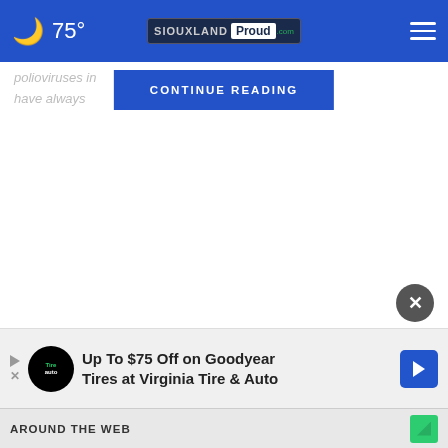🌙 75° | SIOUXLAND Proud
polioviruses in ..., but they have always ... to release
CONTINUE READING
[Figure (screenshot): Close button (X) circle icon]
[Figure (infographic): Advertisement: Up To $75 Off on Goodyear Tires at Virginia Tire & Auto with Tire Auto logo and navigation arrow icon]
AROUND THE WEB